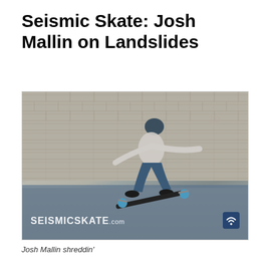Seismic Skate: Josh Mallin on Landslides
[Figure (photo): Josh Mallin performing a landslide trick on a longboard skateboard in front of a brick wall. The skater is airborne with the longboard extended outward. Brick wall background, pavement below. SEISMICSKATE.COM watermark in lower left, blue wifi-style logo in lower right.]
Josh Mallin shreddin'